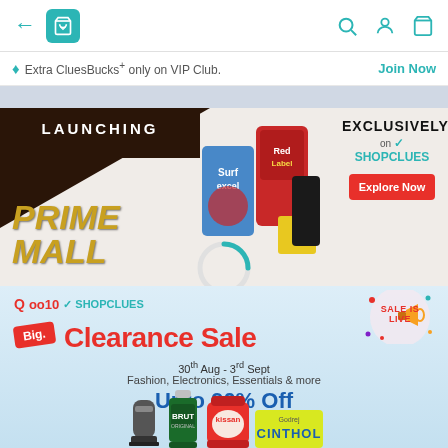[Figure (screenshot): Mobile app top navigation bar with back arrow, shopping bag icon (teal), and right-side icons for search, account, and cart in teal]
Extra CluesBucks+ only on VIP Club.
Join Now
[Figure (infographic): Prime Mall launch banner: dark brown triangle with LAUNCHING text, PRIME MALL in gold italic text on left, product images (Surf Excel, Red Label tea, other grocery items) in center, EXCLUSIVELY on SHOPCLUES logo and Explore Now red button on right]
[Figure (infographic): Qoo10 x ShopClues Big Clearance Sale banner: 30th Aug - 3rd Sept, Fashion, Electronics, Essentials & more, Upto 90% Off. Sale is Live badge top right. Big tag in red. Products at bottom: hair clipper, Brut deodorant, Kissan jam, Godrej Cinthol soap]